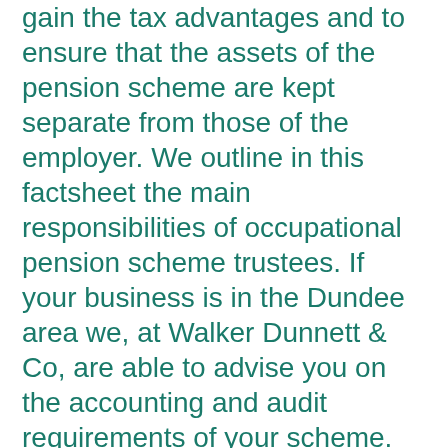gain the tax advantages and to ensure that the assets of the pension scheme are kept separate from those of the employer. We outline in this factsheet the main responsibilities of occupational pension scheme trustees. If your business is in the Dundee area we, at Walker Dunnett & Co, are able to advise you on the accounting and audit requirements of your scheme.
Many employers offer their staff an opportunity to save for their retirement through an occupational (or company) pension scheme.
Those employees who join the scheme need to have confidence that the scheme is being well run.
The role of pension scheme trustees is very important in ensuring that the scheme is run honestly and efficiently and in the best interests of the